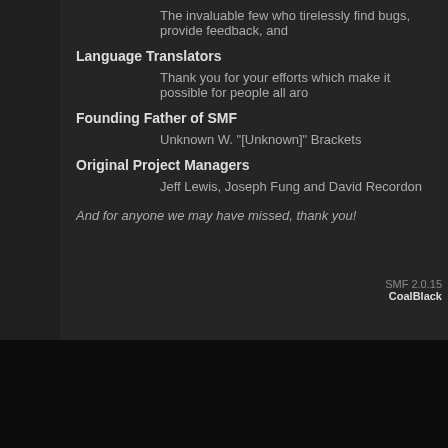The invaluable few who tirelessly find bugs, provide feedback, and
Language Translators
Thank you for your efforts which make it possible for people all aro
Founding Father of SMF
Unknown W. "[Unknown]" Brackets
Original Project Managers
Jeff Lewis, Joseph Fung and David Recordon
And for anyone we may have missed, thank you!
Copyrights
Forum
SMF 2.0.15 | SMF © 2017, Simple Machines
SMF 2.0.15 CoalBlack